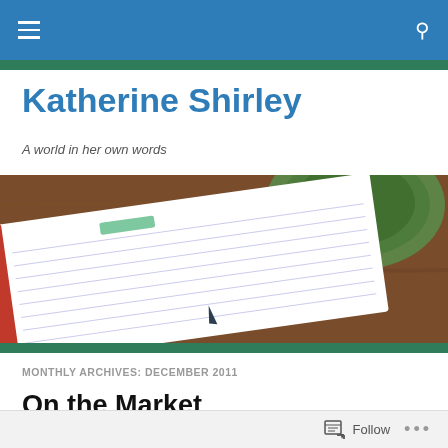Katherine Shirley – site navigation bar with menu and search icons
Katherine Shirley
A world in her own words
[Figure (photo): Top-down photo of an open notebook with lined pages and a green coffee mug on a wooden table]
MONTHLY ARCHIVES: DECEMBER 2011
On the Market
Follow  •••